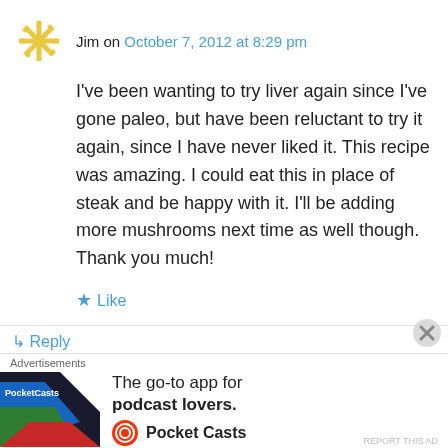Jim on October 7, 2012 at 8:29 pm
I've been wanting to try liver again since I've gone paleo, but have been reluctant to try it again, since I have never liked it. This recipe was amazing. I could eat this in place of steak and be happy with it. I'll be adding more mushrooms next time as well though. Thank you much!
★ Like
↳ Reply
Rick on October 10, 2012 at 2:30 am
Advertisements
The go-to app for podcast lovers. Pocket Casts